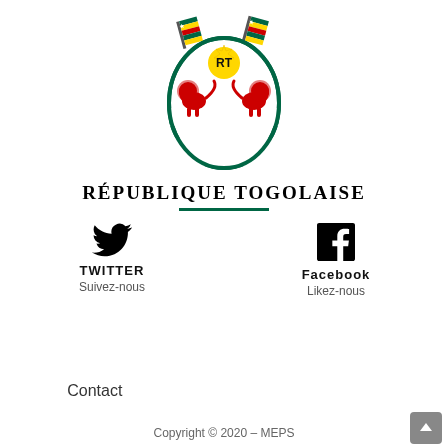[Figure (logo): Coat of arms of Togo - oval shield with green border, two Togolese flags at top, yellow RT badge in center, two red lions rampant]
RÉPUBLIQUE TOGOLAISE
[Figure (other): Twitter bird icon (black)]
TWITTER
Suivez-nous
[Figure (other): Facebook circle icon (black)]
Facebook
Likez-nous
Contact
Copyright © 2020 – MEPS